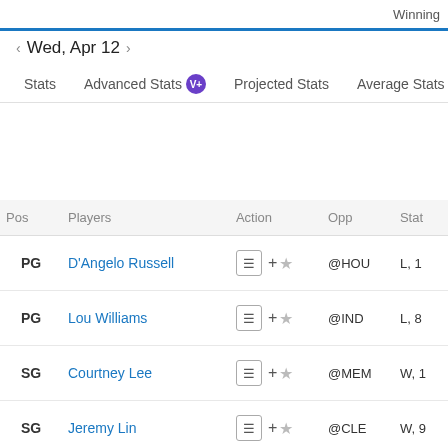Winning
Wed, Apr 12
Stats
Advanced Stats
Projected Stats
Average Stats
Sta
| Pos | Players | Action | Opp | Stat |
| --- | --- | --- | --- | --- |
| PG | D'Angelo Russell | ☰ + ☆ | @HOU | L, 1 |
| PG | Lou Williams | ☰ + ☆ | @IND | L, 8 |
| SG | Courtney Lee | ☰ + ☆ | @MEM | W, 1 |
| SG | Jeremy Lin | ☰ + ☆ | @CLE | W, 9 |
| G | Elfrid Payton | ☰ + ☆ |  |  |